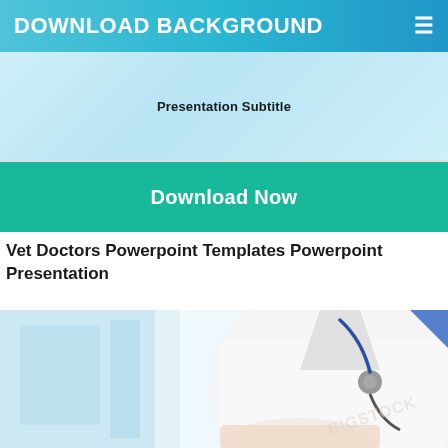DOWNLOAD BACKGROUND
[Figure (screenshot): PowerPoint slide preview with light blue background showing 'Presentation Subtitle' text]
Download Now
Vet Doctors Powerpoint Templates Powerpoint Presentation
[Figure (photo): Close-up photo of a doctor in white coat with stethoscope, BigStock watermark visible]